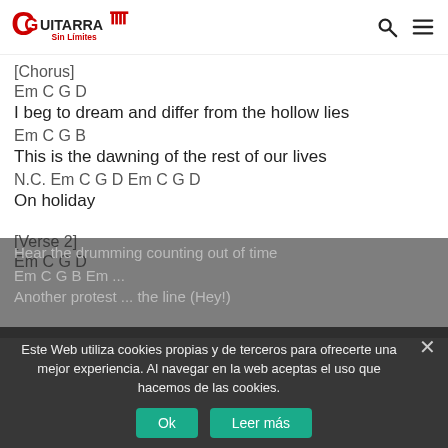[Figure (logo): Guitarra Sin Limites logo with red guitar icon and text]
[Chorus]
Em C G D
I beg to dream and differ from the hollow lies
Em C G B
This is the dawning of the rest of our lives
N.C. Em C G D Em C G D
On holiday
[Verse 2]
Em C G D
Hear the drumming counting out of time
Em C G B Em ...
Another protester has crossed the line (Hey!)
Este Web utiliza cookies propias y de terceros para ofrecerte una mejor experiencia. Al navegar en la web aceptas el uso que hacemos de las cookies.